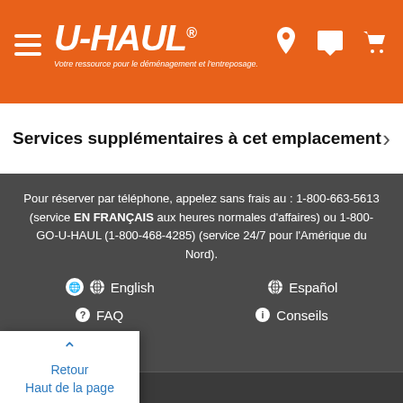[Figure (logo): U-Haul orange header with hamburger menu, U-HAUL logo, tagline in French, location pin and cart icons]
Services supplémentaires à cet emplacement
Pour réserver par téléphone, appelez sans frais au : 1-800-663-5613 (service EN FRANÇAIS aux heures normales d'affaires) ou 1-800-GO-U-HAUL (1-800-468-4285) (service 24/7 pour l'Amérique du Nord).
English
Español
FAQ
Conseils
Retour
Haut de la page
es
sur l'entreprise
U-Haul Carrières